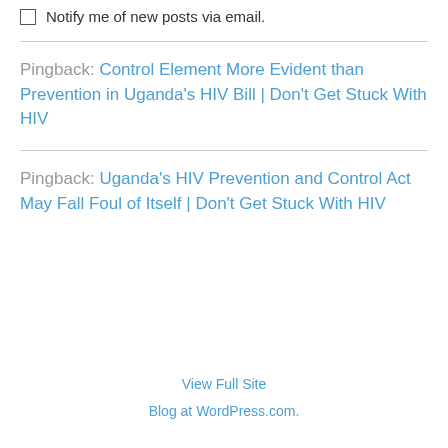Notify me of new posts via email.
Pingback: Control Element More Evident than Prevention in Uganda's HIV Bill | Don't Get Stuck With HIV
Pingback: Uganda's HIV Prevention and Control Act May Fall Foul of Itself | Don't Get Stuck With HIV
View Full Site
Blog at WordPress.com.